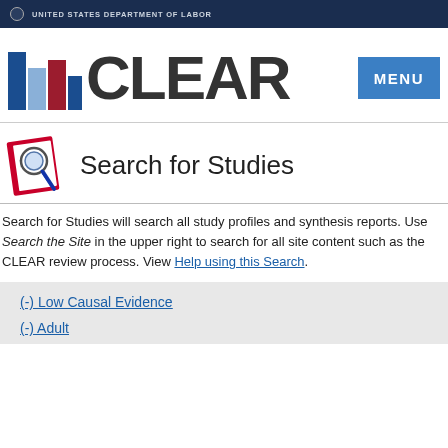UNITED STATES DEPARTMENT OF LABOR
[Figure (logo): CLEAR logo with bar chart icon and MENU button]
Search for Studies
Search for Studies will search all study profiles and synthesis reports. Use Search the Site in the upper right to search for all site content such as the CLEAR review process. View Help using this Search.
(-) Low Causal Evidence
(-) Adult